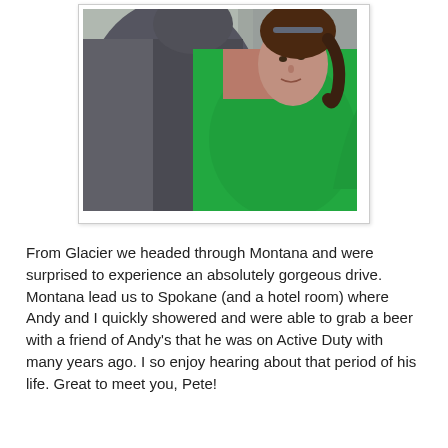[Figure (photo): A photo of two people standing back-to-back outdoors. The person on the left wears a dark gray zip-up jacket and faces away. The person on the right wears a bright green hoodie, has sunglasses on their head, and looks back over their shoulder smiling. A rocky wall is visible in the background.]
From Glacier we headed through Montana and were surprised to experience an absolutely gorgeous drive. Montana lead us to Spokane (and a hotel room) where Andy and I quickly showered and were able to grab a beer with a friend of Andy's that he was on Active Duty with many years ago. I so enjoy hearing about that period of his life. Great to meet you, Pete!